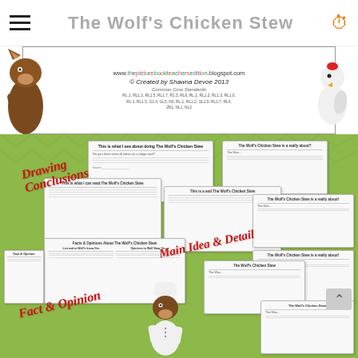The Wolf's Chicken Stew
[Figure (screenshot): Educational worksheet product page for 'The Wolf's Chicken Stew' book unit. Shows a cover image with cartoon wolf and chicken characters, website URL www.thepicturebookteachersedition.blogspot.com, copyright by Shawna Devoe 2013, Common Core Standards listed, and preview images of worksheets labeled Drawing Conclusions, Main Idea & Detail, and Fact & Opinion on a green zigzag background.]